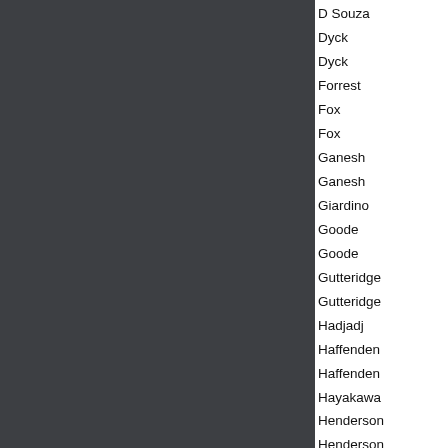| Last Name | First Name | Date |
| --- | --- | --- |
| D Souza | Olinka | 7/1... |
| Dyck | Kevin James | 12/9... |
| Dyck | Sara | 12/9... |
| Forrest | Shanna | 4/1... |
| Fox | Harriet | 19/0... |
| Fox | Izabella | 16/1... |
| Ganesh | Sangita | 10/1... |
| Ganesh | Smita | 13/3... |
| Giardino | Alberto | 15/0... |
| Goode | Orla | 13/7... |
| Goode | Rosie | 13/1... |
| Gutteridge | Adam | 26/0... |
| Gutteridge | Tom | 10/7... |
| Hadjadj | Lina | 2/12... |
| Haffenden | Benjamin | 19/0... |
| Haffenden | Grace | 6/6... |
| Hayakawa | Rin | 15/0... |
| Henderson | Lucas | 17/0... |
| Henderson | Molly | 9/6... |
| Holmstrom | Max | 4/9... |
| Hullik | Sebastian | 16/0... |
| Hullik | Tim Luis | 5/11... |
| Ikeda | Koseiro | 29/0... |
| Jain | Aryan | 15/0... |
| Jain | Navin | 19/1... |
| Jones | Josh | 31/1... |
| Joss | Rafi | 20/0... |